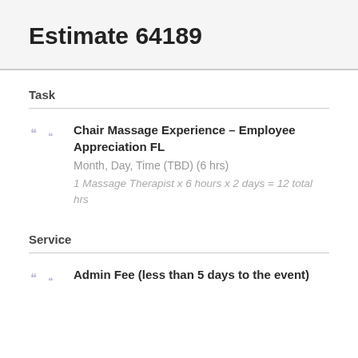Estimate 64189
Task
Chair Massage Experience – Employee Appreciation FL
Month, Day, Time (TBD) (6 hrs)
1 Massage Therapist x 6 hours x 2 days = 12 total hrs
Service
Admin Fee (less than 5 days to the event)